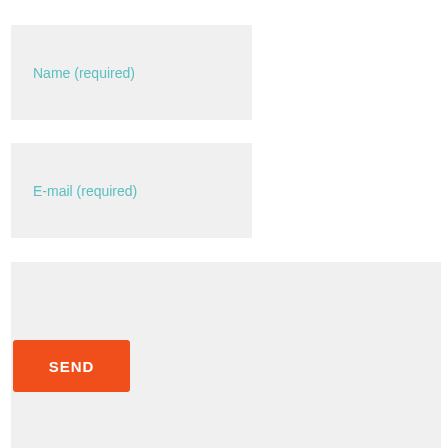[Figure (screenshot): Web contact form with Name (required) input field, E-mail (required) input field, a large message text area, and an orange SEND button.]
Name (required)
E-mail (required)
SEND